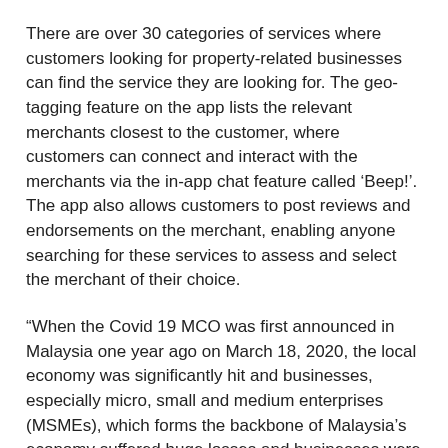There are over 30 categories of services where customers looking for property-related businesses can find the service they are looking for. The geo-tagging feature on the app lists the relevant merchants closest to the customer, where customers can connect and interact with the merchants via the in-app chat feature called ‘Beep!’. The app also allows customers to post reviews and endorsements on the merchant, enabling anyone searching for these services to assess and select the merchant of their choice.
“When the Covid 19 MCO was first announced in Malaysia one year ago on March 18, 2020, the local economy was significantly hit and businesses, especially micro, small and medium enterprises (MSMEs), which forms the backbone of Malaysia’s economy suffered huge losses and businesses were coming to a standstill as it was unclear how long the MCO would last,” said Lee Willson, the Chief Coordinator and Founder of ProppyApp.
Small and Medium Enterprises (SMEs) contribute about 38.9% of